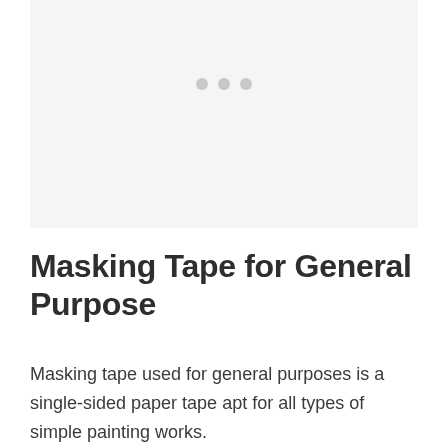[Figure (other): Image placeholder area with a light gray background and three small gray dots centered near the top, indicating a loading or empty image state.]
Masking Tape for General Purpose
Masking tape used for general purposes is a single-sided paper tape apt for all types of simple painting works.